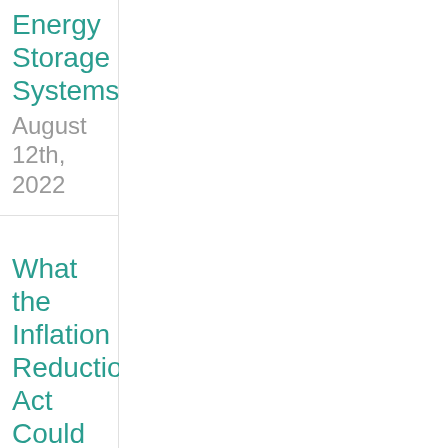Energy Storage Systems
August 12th, 2022
What the Inflation Reduction Act Could